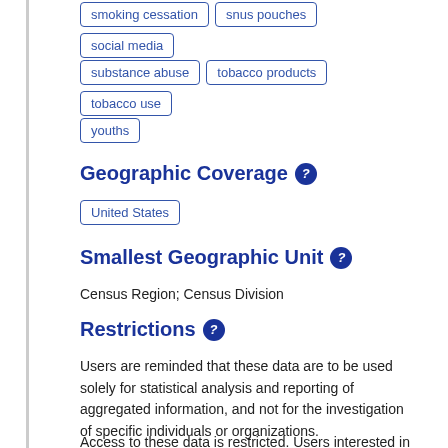smoking cessation
snus pouches
social media
substance abuse
tobacco products
tobacco use
youths
Geographic Coverage
United States
Smallest Geographic Unit
Census Region; Census Division
Restrictions
Users are reminded that these data are to be used solely for statistical analysis and reporting of aggregated information, and not for the investigation of specific individuals or organizations.
Access to these data is restricted. Users interested in